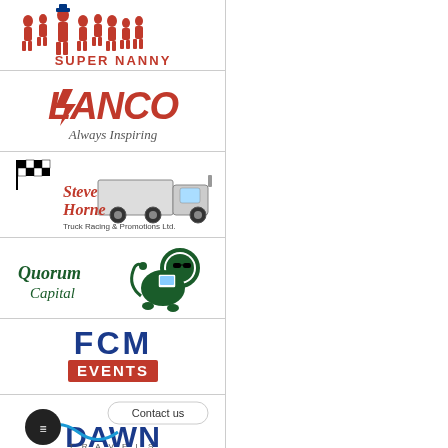[Figure (logo): Super Nanny logo with silhouettes of children and a nanny figure]
[Figure (logo): LANCO logo in red italic letters with tagline Always Inspiring]
[Figure (logo): Steve Horne Truck Racing and Promotions Ltd logo with checkered flag and truck illustration]
[Figure (logo): Quorum Capital logo with green lion mascot holding a computer]
[Figure (logo): FCM Events logo in blue and red]
[Figure (logo): Dawn Travels logo with Contact us button overlay]